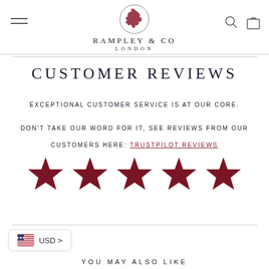[Figure (logo): Rampley & Co London logo with bird emblem in circle, brand name and city]
CUSTOMER REVIEWS
EXCEPTIONAL CUSTOMER SERVICE IS AT OUR CORE.
DON'T TAKE OUR WORD FOR IT, SEE REVIEWS FROM OUR CUSTOMERS HERE: TRUSTPILOT REVIEWS
[Figure (infographic): Five dark red/maroon star rating icons displayed in a row]
USD >
YOU MAY ALSO LIKE